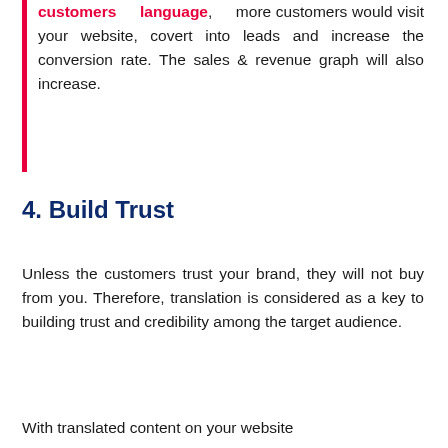customers language, more customers would visit your website, covert into leads and increase the conversion rate. The sales & revenue graph will also increase.
4. Build Trust
Unless the customers trust your brand, they will not buy from you. Therefore, translation is considered as a key to building trust and credibility among the target audience.
With translated content on your website